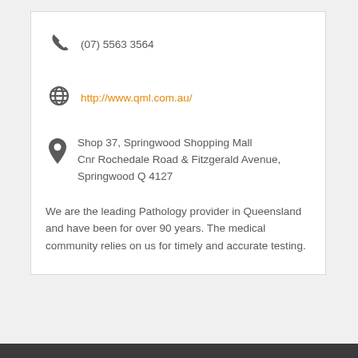(07) 5563 3564
http://www.qml.com.au/
Shop 37, Springwood Shopping Mall Cnr Rochedale Road & Fitzgerald Avenue, Springwood Q 4127
We are the leading Pathology provider in Queensland and have been for over 90 years. The medical community relies on us for timely and accurate testing.